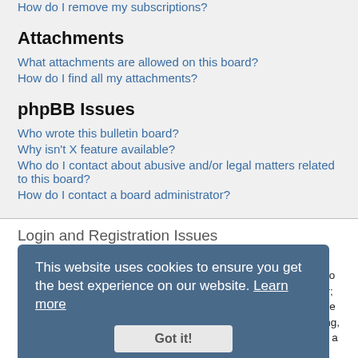How do I remove my subscriptions?
Attachments
What attachments are allowed on this board?
How do I find all my attachments?
phpBB Issues
Who wrote this bulletin board?
Why isn’t X feature available?
Who do I contact about abusive and/or legal matters related to this board?
How do I contact a board administrator?
Login and Registration Issues
Why do I need to register?
You may not have to, it is up to the administrator of the board as to whether you need to register in order to post messages. However; registration will give you access to additional features not available to guest users such as definable avatar images, private messaging, emailing of fellow users, usergroup subscription, etc. It only takes a few moments to register so it is recommended you do so.
This website uses cookies to ensure you get the best experience on our website. Learn more
Got it!